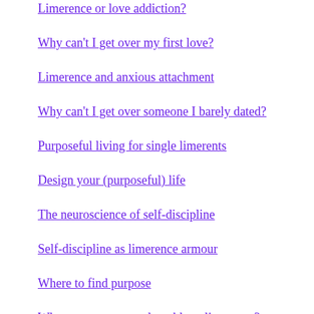Limerence or love addiction?
Why can't I get over my first love?
Limerence and anxious attachment
Why can't I get over someone I barely dated?
Purposeful living for single limerents
Design your (purposeful) life
The neuroscience of self-discipline
Self-discipline as limerence armour
Where to find purpose
When are we most vulnerable to limerence?